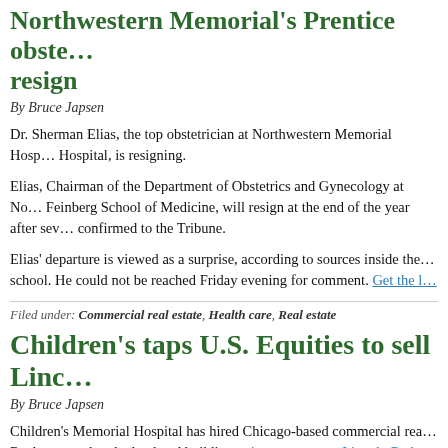Northwestern Memorial's Prentice obstetrician to resign
By Bruce Japsen
Dr. Sherman Elias, the top obstetrician at Northwestern Memorial Hospital, is resigning.
Elias, Chairman of the Department of Obstetrics and Gynecology at Northwestern's Feinberg School of Medicine, will resign at the end of the year after several years, he confirmed to the Tribune.
Elias' departure is viewed as a surprise, according to sources inside the hospital and school. He could not be reached Friday evening for comment. Get the full story...
Filed under: Commercial real estate, Health care, Real estate
Children's taps U.S. Equities to sell Lincoln Park land
By Bruce Japsen
Children's Memorial Hospital has hired Chicago-based commercial real estate firm U.S. Equities Realty to market the land and building at its current tony Lincoln Park location.
Calling it "one of the most desirable neighborhoods in the Midwest," hospital officials hope the prime six-acre real estate site will fetch a large sum.
Hospital officials would not disclose or speculate on what the sale of the...